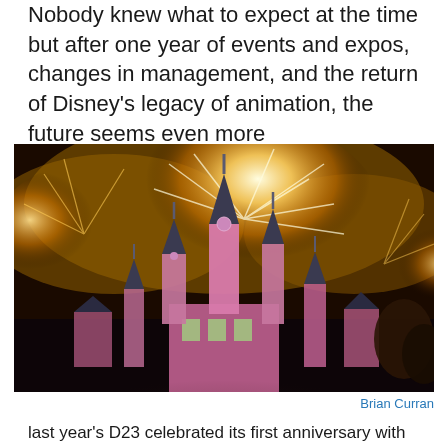Nobody knew what to expect at the time but after one year of events and expos, changes in management, and the return of Disney’s legacy of animation, the future seems even more unpredictable… but there’s hope.
[Figure (photo): Fireworks exploding behind Sleeping Beauty Castle at Disneyland, illuminated in pink and gold light against a dark smoky sky.]
Brian Curran
last year’s D23 celebrated its first anniversary with